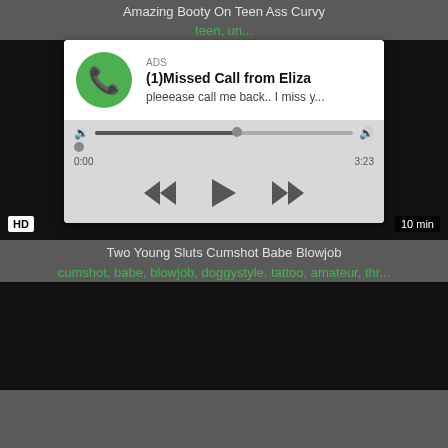Amazing Booty On Teen Ass Curvy
teen, ... un...
[Figure (screenshot): Video player with an ad overlay showing a missed call notification from Eliza, with audio controls and playback buttons. Video shows HD badge and 10 min duration.]
Two Young Sluts Cumshot Babe Blowjob
cumshot, babe, blowjob, doggystyle, tattoo, amateur, thr...
[Figure (screenshot): Dark video thumbnail at bottom of page]